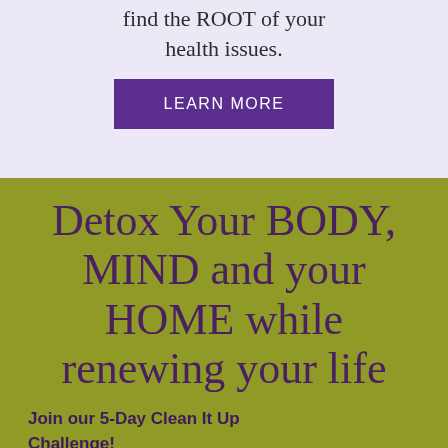find the ROOT of your health issues.
[Figure (other): Purple 'LEARN MORE' button on lavender background]
Detox Your BODY, MIND and your HOME while renewing your life
Join our 5-Day Clean It Up Challenge!
Flood your body with nutrients